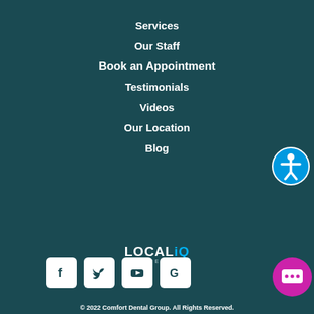Services
Our Staff
Book an Appointment
Testimonials
Videos
Our Location
Blog
[Figure (logo): LOCALiQ POWERED logo in white with blue Q]
[Figure (infographic): Social media icons: Facebook, Twitter, YouTube, Google]
[Figure (illustration): Accessibility icon button - blue circle with white person figure]
[Figure (illustration): Chat button - magenta/purple circle with white chat icon]
© 2022 Comfort Dental Group. All Rights Reserved.